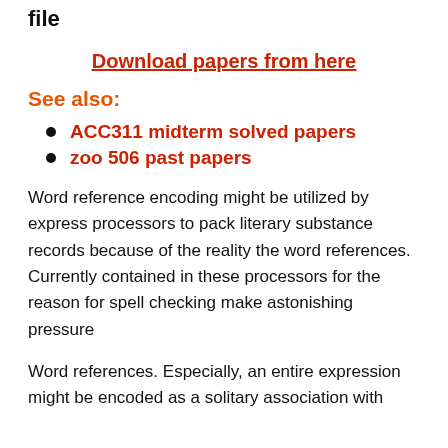file
Download papers from here
See also:
ACC311 midterm solved papers
zoo 506 past papers
Word reference encoding might be utilized by express processors to pack literary substance records because of the reality the word references. Currently contained in these processors for the reason for spell checking make astonishing pressure
Word references. Especially, an entire expression might be encoded as a solitary association with